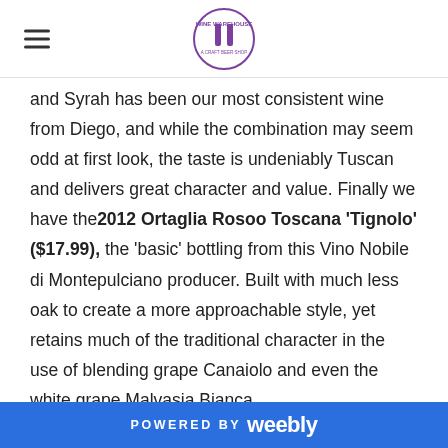[hamburger menu] Wine Warehouse logo
and Syrah has been our most consistent wine from Diego, and while the combination may seem odd at first look, the taste is undeniably Tuscan and delivers great character and value. Finally we have the 2012 Ortaglia Rosoo Toscana 'Tignolo' ($17.99), the 'basic' bottling from this Vino Nobile di Montepulciano producer. Built with much less oak to create a more approachable style, yet retains much of the traditional character in the use of blending grape Canaiolo and even the white grape Malvasia Bianca,
POWERED BY weebly